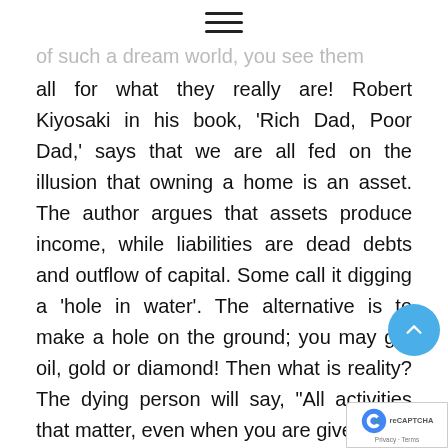☰ (hamburger menu icon)
of such a dream world, you see them all for what they really are! Robert Kiyosaki in his book, 'Rich Dad, Poor Dad,' says that we are all fed on the illusion that owning a home is an asset. The author argues that assets produce income, while liabilities are dead debts and outflow of capital. Some call it digging a 'hole in water'. The alternative is to make a hole on the ground; you may get oil, gold or diamond! Then what is reality? The dying person will say, "All activities that matter, even when you are given a